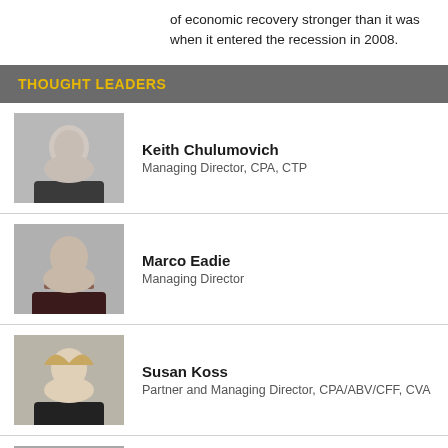of economic recovery stronger than it was when it entered the recession in 2008.
THOUGHT LEADERS
Keith Chulumovich
Managing Director, CPA, CTP
Marco Eadie
Managing Director
Susan Koss
Partner and Managing Director, CPA/ABV/CFF, CVA
Julie Lock
Analyst